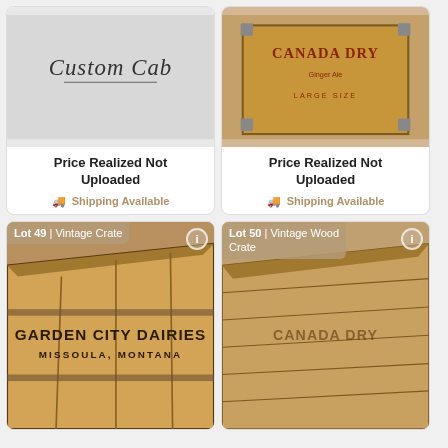[Figure (photo): Top portion of auction lot card showing Custom Cab chrome badge on gray background]
Price Realized Not Uploaded
🚚 Shipping Available
[Figure (photo): Top portion of auction lot card showing Canada Dry wooden crate with metal corner brackets, Large Size label]
Price Realized Not Uploaded
🚚 Shipping Available
[Figure (photo): Lot 49 | Vintage Crate — wooden crate with Garden City Dairies Missoula Montana stencil]
[Figure (photo): Lot 50 | Vintage Wood Crate — worn wooden crate with Canada Dry stenciling]